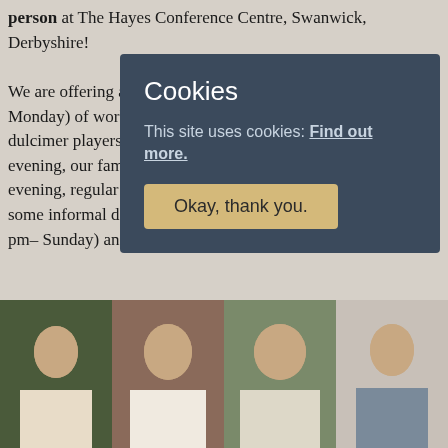person at The Hayes Conference Centre, Swanwick, Derbyshire! We are offering a full 3-day weekend program (Friday pm – Monday) of workshops for both hammered and mountain dulcimer players of all levels, a Tutor Concert on Friday evening, our famous Nonsuch Open-Stage concert on Saturday evening, regular and slow sessions with leaders, and time for some informal dancing. There are also a 2-day weekend (Fri pm– Sunday) and non-residential options.
[Figure (screenshot): Cookie consent overlay with title 'Cookies', text 'This site uses cookies: Find out more.' and a button 'Okay, thank you.']
[Figure (photo): Four portrait photos of musicians/tutors in a horizontal row at the bottom of the page]